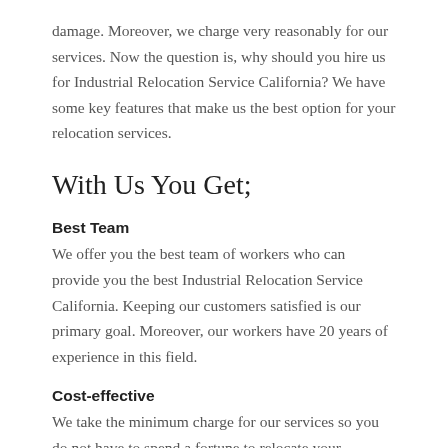damage. Moreover, we charge very reasonably for our services. Now the question is, why should you hire us for Industrial Relocation Service California? We have some key features that make us the best option for your relocation services.
With Us You Get;
Best Team
We offer you the best team of workers who can provide you the best Industrial Relocation Service California. Keeping our customers satisfied is our primary goal. Moreover, our workers have 20 years of experience in this field.
Cost-effective
We take the minimum charge for our services so you do not have to spend a fortune to relocate your industry.